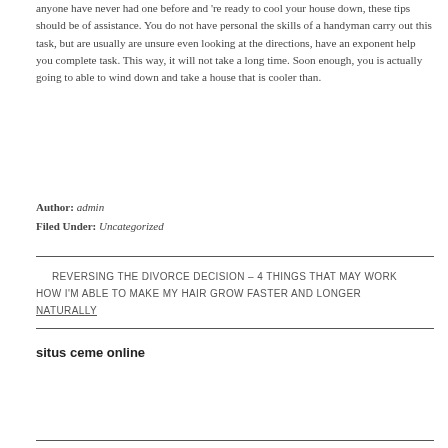anyone have never had one before and 're ready to cool your house down, these tips should be of assistance. You do not have personal the skills of a handyman carry out this task, but are usually are unsure even looking at the directions, have an exponent help you complete task. This way, it will not take a long time. Soon enough, you is actually going to able to wind down and take a house that is cooler than.
Author: admin
Filed Under: Uncategorized
REVERSING THE DIVORCE DECISION – 4 THINGS THAT MAY WORK
HOW I'M ABLE TO MAKE MY HAIR GROW FASTER AND LONGER NATURALLY
situs ceme online